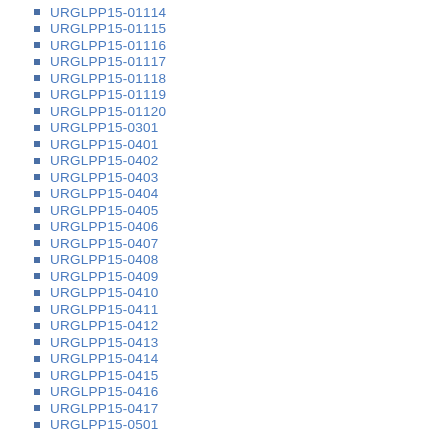URGLPP15-01114
URGLPP15-01115
URGLPP15-01116
URGLPP15-01117
URGLPP15-01118
URGLPP15-01119
URGLPP15-01120
URGLPP15-0301
URGLPP15-0401
URGLPP15-0402
URGLPP15-0403
URGLPP15-0404
URGLPP15-0405
URGLPP15-0406
URGLPP15-0407
URGLPP15-0408
URGLPP15-0409
URGLPP15-0410
URGLPP15-0411
URGLPP15-0412
URGLPP15-0413
URGLPP15-0414
URGLPP15-0415
URGLPP15-0416
URGLPP15-0417
URGLPP15-0501